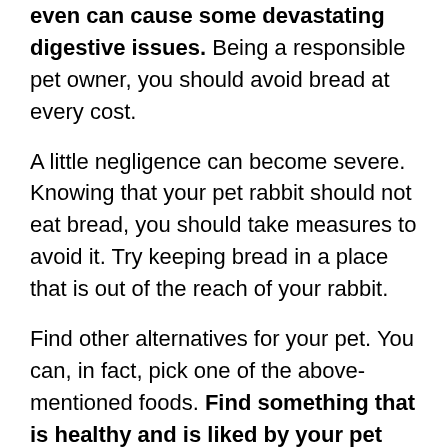even can cause some devastating digestive issues. Being a responsible pet owner, you should avoid bread at every cost.
A little negligence can become severe. Knowing that your pet rabbit should not eat bread, you should take measures to avoid it. Try keeping bread in a place that is out of the reach of your rabbit.
Find other alternatives for your pet. You can, in fact, pick one of the above-mentioned foods. Find something that is healthy and is liked by your pet too. Having complete knowledge of your pet's required and natural diet is